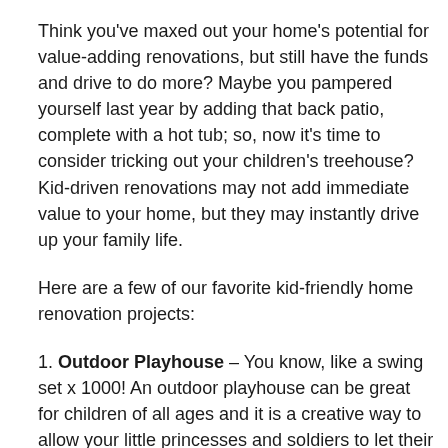Think you've maxed out your home's potential for value-adding renovations, but still have the funds and drive to do more? Maybe you pampered yourself last year by adding that back patio, complete with a hot tub; so, now it's time to consider tricking out your children's treehouse? Kid-driven renovations may not add immediate value to your home, but they may instantly drive up your family life.
Here are a few of our favorite kid-friendly home renovation projects:
1. Outdoor Playhouse – You know, like a swing set x 1000! An outdoor playhouse can be great for children of all ages and it is a creative way to allow your little princesses and soldiers to let their imaginations run wild. Depending on how wild you want to let your budget run, an outdoor playhouse can cost anywhere from a couple thousand dollars to as much as you paid for your first